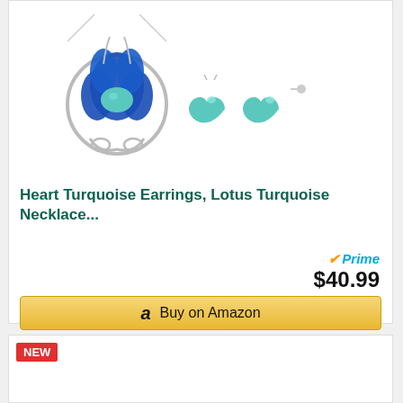[Figure (photo): Lotus turquoise necklace pendant on a silver chain and two heart-shaped turquoise stud earrings displayed on white background]
Heart Turquoise Earrings, Lotus Turquoise Necklace...
Prime
$40.99
Buy on Amazon
NEW